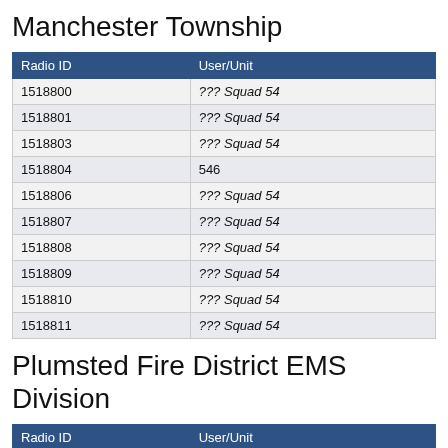Manchester Township
| Radio ID | User/Unit |
| --- | --- |
| 1518800 | ??? Squad 54 |
| 1518801 | ??? Squad 54 |
| 1518803 | ??? Squad 54 |
| 1518804 | 546 |
| 1518806 | ??? Squad 54 |
| 1518807 | ??? Squad 54 |
| 1518808 | ??? Squad 54 |
| 1518809 | ??? Squad 54 |
| 1518810 | ??? Squad 54 |
| 1518811 | ??? Squad 54 |
Plumsted Fire District EMS Division
| Radio ID | User/Unit |
| --- | --- |
| 1523800 | ??? Squad 30 |
| 1523801 | ??? Squad 30 |
| 1523802 | ??? Squad 30 |
| 1523803 | ??? Squad 30 |
| 1523804 | 304 Mobile |
| 1523805 | ??? Squad 30 |